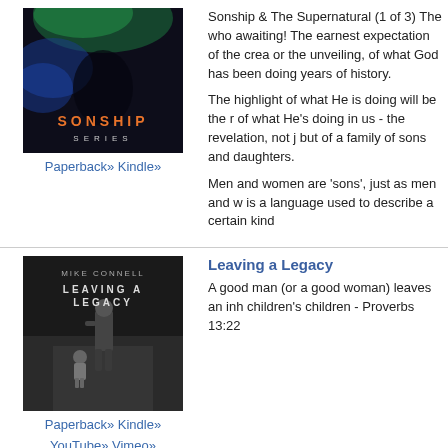[Figure (illustration): Sonship Series book cover with dark background, green and blue artistic design with text 'SONSHIP SERIES']
Paperback» Kindle»
Sonship & The Supernatural (1 of 3) The who awaiting! The earnest expectation of the crea or the unveiling, of what God has been doing years of history.
The highlight of what He is doing will be the r of what He's doing in us - the revelation, not j but of a family of sons and daughters.
Men and women are 'sons', just as men and w is a language used to describe a certain kind
[Figure (illustration): Leaving a Legacy book cover showing a man in a suit walking with a small child, with text 'MIKE CONNELL' and 'LEAVING A LEGACY']
Paperback» Kindle» YouTube» Vimeo»
Leaving a Legacy
A good man (or a good woman) leaves an inh children's children - Proverbs 13:22
[Figure (photo): Eternal Rewards book cover, dark/black background]
Eternal Rewards
Introduction to Eternal Rewards (1 of 12) One